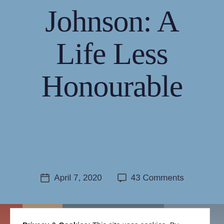Johnson: A Life Less Honourable
April 7, 2020   43 Comments
[Figure (photo): Photo of person in red shirt visible behind cookie banner, with additional photos at bottom of page]
Privacy & Cookies: This site uses cookies. By continuing to use this website, you agree to their use.
To find out more, including how to control cookies, see here:
Cookie Policy
CLOSE AND ACCEPT